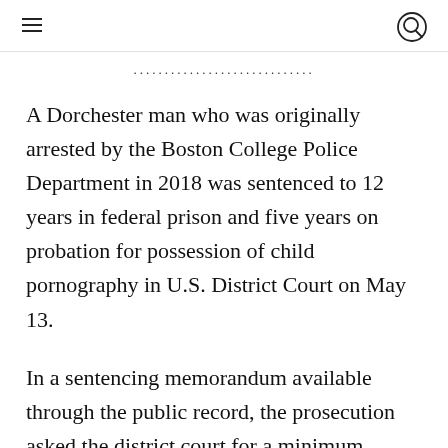≡  🔍
.....................
A Dorchester man who was originally arrested by the Boston College Police Department in 2018 was sentenced to 12 years in federal prison and five years on probation for possession of child pornography in U.S. District Court on May 13.
In a sentencing memorandum available through the public record, the prosecution asked the district court for a minimum